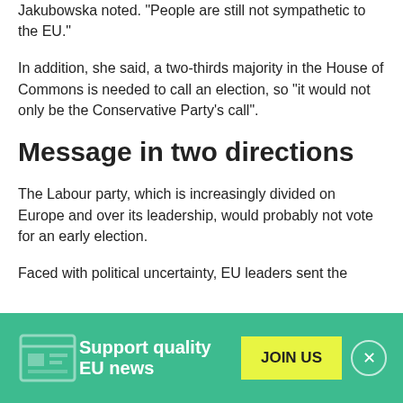Jakubowska noted. "People are still not sympathetic to the EU."
In addition, she said, a two-thirds majority in the House of Commons is needed to call an election, so "it would not only be the Conservative Party's call".
Message in two directions
The Labour party, which is increasingly divided on Europe and over its leadership, would probably not vote for an early election.
Faced with political uncertainty, EU leaders sent the
Support quality EU news JOIN US